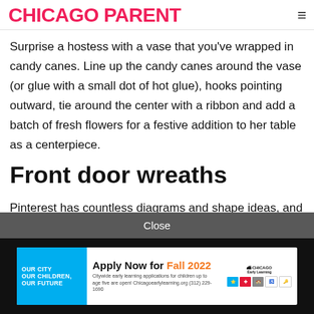CHICAGO PARENT
Surprise a hostess with a vase that you've wrapped in candy canes. Line up the candy canes around the vase (or glue with a small dot of hot glue), hooks pointing outward, tie around the center with a ribbon and add a batch of fresh flowers for a festive addition to her table as a centerpiece.
Front door wreaths
Pinterest has countless diagrams and shape ideas, and creating any kind of candy cane wreath can be a beautiful addition to your holiday decor. Put them together in a way
Close
[Figure (infographic): Apply Now for Fall 2022 advertisement banner for Chicago Early Learning citywide early learning applications for children up to age five]